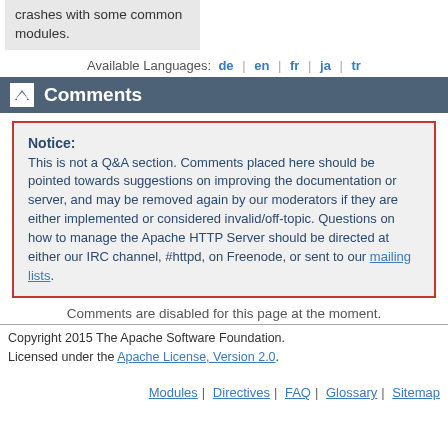crashes with some common modules.
Available Languages: de | en | fr | ja | tr
Comments
Notice: This is not a Q&A section. Comments placed here should be pointed towards suggestions on improving the documentation or server, and may be removed again by our moderators if they are either implemented or considered invalid/off-topic. Questions on how to manage the Apache HTTP Server should be directed at either our IRC channel, #httpd, on Freenode, or sent to our mailing lists.
Comments are disabled for this page at the moment.
Copyright 2015 The Apache Software Foundation. Licensed under the Apache License, Version 2.0.
Modules | Directives | FAQ | Glossary | Sitemap